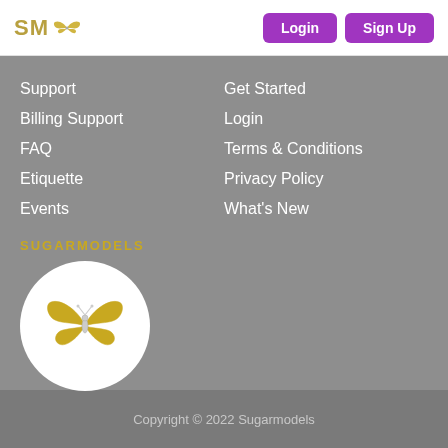SM 🦋 Login Sign Up
Support
Get Started
Billing Support
Login
FAQ
Terms & Conditions
Etiquette
Privacy Policy
Events
What's New
SUGARMODELS
[Figure (logo): Butterfly logo in gold outline on white circle background]
Copyright © 2022 Sugarmodels